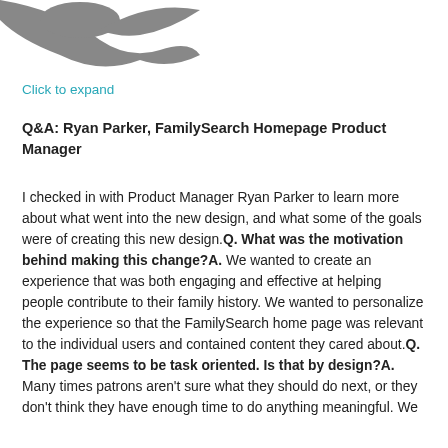[Figure (illustration): Partial grey abstract bird or decorative shape illustration at top of page]
Click to expand
Q&A: Ryan Parker, FamilySearch Homepage Product Manager
I checked in with Product Manager Ryan Parker to learn more about what went into the new design, and what some of the goals were of creating this new design. Q. What was the motivation behind making this change? A. We wanted to create an experience that was both engaging and effective at helping people contribute to their family history. We wanted to personalize the experience so that the FamilySearch home page was relevant to the individual users and contained content they cared about. Q. The page seems to be task oriented. Is that by design? A. Many times patrons aren't sure what they should do next, or they don't think they have enough time to do anything meaningful. We